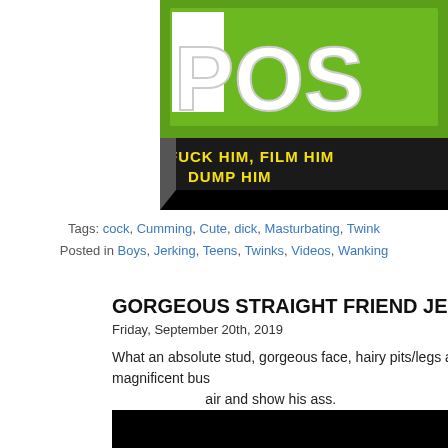[Figure (logo): Website logo banner with green block letters and black banner reading FUCK HIM, FILM HIM DUMP HIM in yellow text]
Tags: cock, Cumming, Cute, dick, Masturbating, Twink
Posted in Boys, Jerking, Teens, Twinks, Videos, Wanking
GORGEOUS STRAIGHT FRIEND JERKING MASSIVE C
Friday, September 20th, 2019
What an absolute stud, gorgeous face, hairy pits/legs and a magnificent bus air and show his ass.
[Figure (screenshot): Black video player embed]